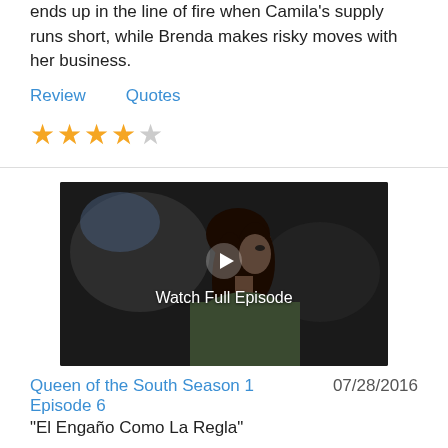ends up in the line of fire when Camila's supply runs short, while Brenda makes risky moves with her business.
Review   Quotes
[Figure (other): 4 out of 5 star rating shown as gold star emoji icons]
[Figure (screenshot): Video thumbnail showing a woman in profile view with dark hair in a dimly lit scene, with a play button and text 'Watch Full Episode']
Queen of the South Season 1 Episode 6   07/28/2016
"El Engaño Como La Regla"
On Queen of the South Season 1 Episode 6, Brenda's drug business causes problems between her and Tony, while Camila considers turning over Teresa.
Review   Quotes